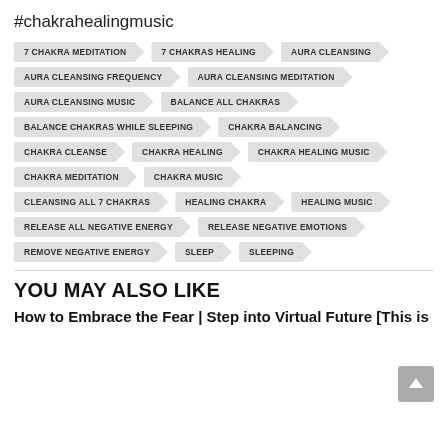#chakrahealingmusic
7 CHAKRA MEDITATION
7 CHAKRAS HEALING
AURA CLEANSING
AURA CLEANSING FREQUENCY
AURA CLEANSING MEDITATION
AURA CLEANSING MUSIC
BALANCE ALL CHAKRAS
BALANCE CHAKRAS WHILE SLEEPING
CHAKRA BALANCING
CHAKRA CLEANSE
CHAKRA HEALING
CHAKRA HEALING MUSIC
CHAKRA MEDITATION
CHAKRA MUSIC
CLEANSING ALL 7 CHAKRAS
HEALING CHAKRA
HEALING MUSIC
RELEASE ALL NEGATIVE ENERGY
RELEASE NEGATIVE EMOTIONS
REMOVE NEGATIVE ENERGY
SLEEP
SLEEPING
YOU MAY ALSO LIKE
How to Embrace the Fear | Step into Virtual Future [This is